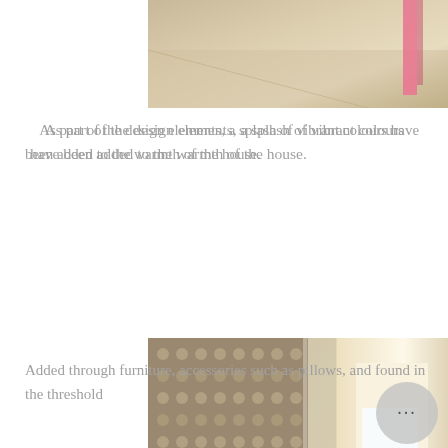[Figure (photo): Partial view of an interior space, showing a sandy/beige floor and a pink wall element, cropped at the top of the page.]
As part of the design elements, a splash of vibrant colours have been added to the warmth of the house.
[Figure (photo): Interior room photo showing a decorative perforated screen/lattice wall, a wooden side table with a yellow toy, a blue and white striped hammock in the foreground, a corridor with a yellow chair visible in the background, and a scroll-to-top arrow button overlay in the lower right corner.]
Added through furniture, accessories such as pillows, and found in the threshold